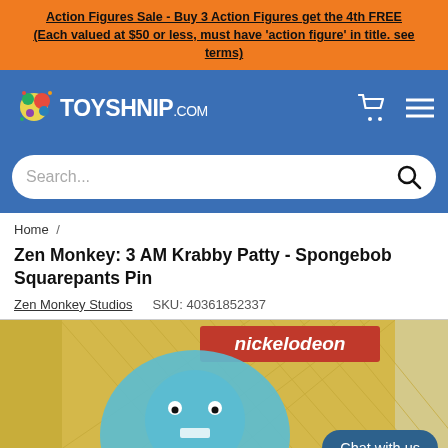Action Figures Sale - Buy 3 Action Figures get the 4th FREE (Each valued at $50 or less, must have 'action figure' in title. see terms)
[Figure (logo): Toyshnip.com logo with colorful toy graphic and shopping cart / hamburger menu icons on blue navbar background, plus a search bar]
Home /
Zen Monkey: 3 AM Krabby Patty - Spongebob Squarepants Pin
Zen Monkey Studios   SKU: 40361852337
[Figure (photo): Product photo showing Spongebob Squarepants pin packaging with Nickelodeon branding and a Chat with us button overlay]